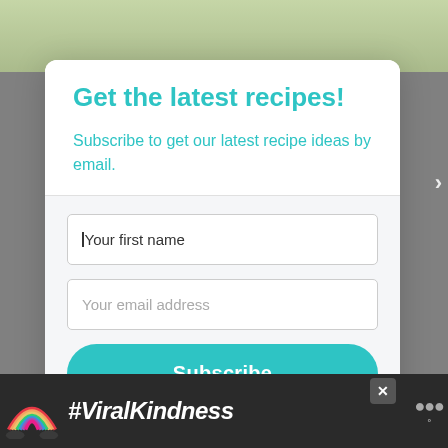Get the latest recipes!
Subscribe to get our latest recipe ideas by email.
Your first name
Your email address
Subscribe
We won't send you spam. Unsubscribe at any time.
Powered By ConvertKit
[Figure (infographic): Bottom advertisement banner with dark background showing a rainbow graphic and the hashtag #ViralKindness in white bold italic text. A close button (X) and a WeMe logo are visible on the right side.]